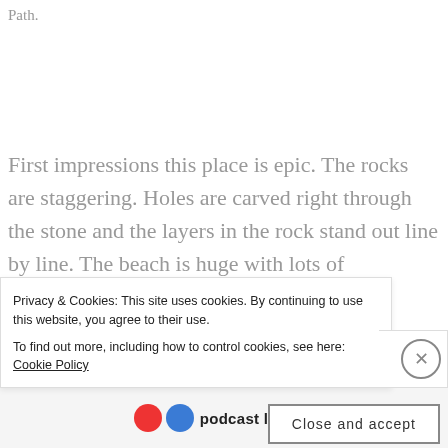Path.
First impressions this place is epic. The rocks are staggering. Holes are carved right through the stone and the layers in the rock stand out line by line. The beach is huge with lots of
Privacy & Cookies: This site uses cookies. By continuing to use this website, you agree to their use.
To find out more, including how to control cookies, see here: Cookie Policy
Close and accept
podcast lovers.